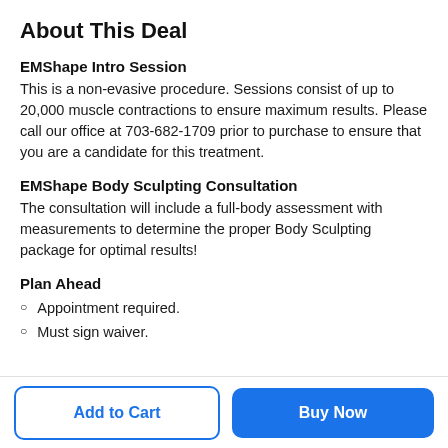About This Deal
EMShape Intro Session
This is a non-evasive procedure. Sessions consist of up to 20,000 muscle contractions to ensure maximum results. Please call our office at 703-682-1709 prior to purchase to ensure that you are a candidate for this treatment.
EMShape Body Sculpting Consultation
The consultation will include a full-body assessment with measurements to determine the proper Body Sculpting package for optimal results!
Plan Ahead
Appointment required.
Must sign waiver.